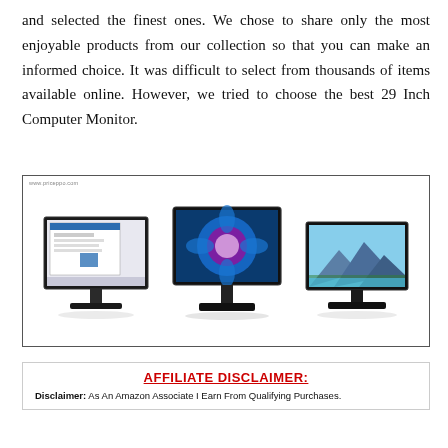and selected the finest ones. We chose to share only the most enjoyable products from our collection so that you can make an informed choice. It was difficult to select from thousands of items available online. However, we tried to choose the best 29 Inch Computer Monitor.
[Figure (photo): Three 29-inch computer monitors displayed side by side: left monitor shows a Windows desktop, center monitor shows a colorful blue flower wallpaper, right monitor shows a mountain landscape wallpaper. Small watermark 'www.priceppo.com' in top-left corner of the image box.]
AFFILIATE DISCLAIMER: Disclaimer: As An Amazon Associate I Earn From Qualifying Purchases.